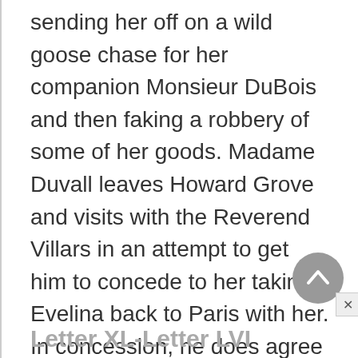sending her off on a wild goose chase for her companion Monsieur DuBois and then faking a robbery of some of her goods. Madame Duvall leaves Howard Grove and visits with the Reverend Villars in an attempt to get him to concede to her taking Evelina back to Paris with her. In concession, he does agree to allow Evelina to stay with Madame Duvall for a short while in London.
Letter XL-Letter LVI